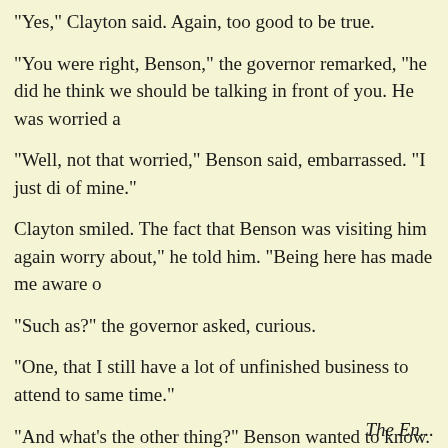"Yes," Clayton said. Again, too good to be true.
"You were right, Benson," the governor remarked, "he did he think we should be talking in front of you. He was worried a
"Well, not that worried," Benson said, embarrassed. "I just di of mine."
Clayton smiled. The fact that Benson was visiting him again worry about," he told him. "Being here has made me aware o
"Such as?" the governor asked, curious.
"One, that I still have a lot of unfinished business to attend to same time."
"And what's the other thing?" Benson wanted to know.
Clayton checked to make sure that the nurse wasn't around to to get out of here."
The En...